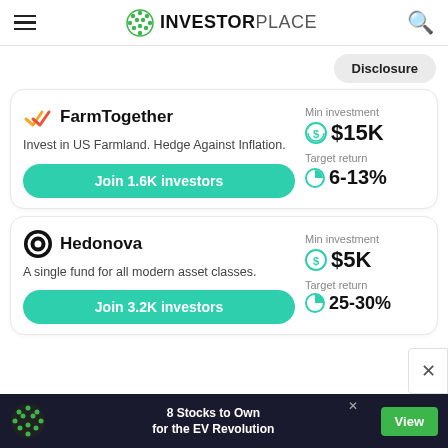INVESTORPLACE
Disclosure
[Figure (logo): FarmTogether logo - orange/yellow checkmark icon]
FarmTogether
Invest in US Farmland. Hedge Against Inflation.
Join 1.6K investors
Min investment
$15K
Target return
6-13%
[Figure (logo): Hedonova logo - black circle with white target/circle icon]
Hedonova
A single fund for all modern asset classes.
Join 3.2K investors
Min investment
$5K
Target return
25-30%
8 Stocks to Own for the EV Revolution
View